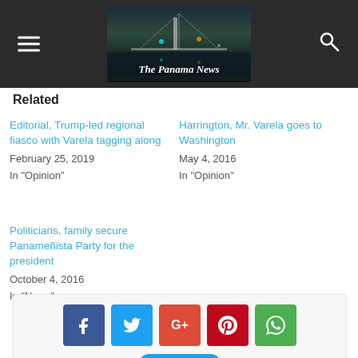[Figure (logo): The Panama News website header with dark background, bridge photo, hamburger menu icon on left, search icon on right, and italic logo text 'The Panama News']
Related
Editorial, Trump-led regional fiasco with Varela tagging along
February 25, 2019
In "Opinion"
Harrington, Mr. Varela goes to Washington
May 4, 2016
In "Opinion"
Politicians, family secure Panameñista Party for the president
October 4, 2016
In "News"
[Figure (infographic): Social share buttons: Facebook (dark blue), Twitter (light blue), Google+ (red-orange), Pinterest (dark red), WhatsApp (green), and a Tweet button below]